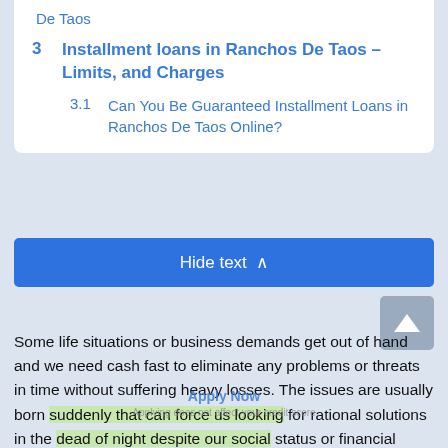De Taos
3  Installment loans in Ranchos De Taos – Limits, and Charges
3.1  Can You Be Guaranteed Installment Loans in Ranchos De Taos Online?
Hide text ∧
Some life situations or business demands get out of hand and we need cash fast to eliminate any problems or threats in time without suffering heavy losses. The issues are usually born suddenly that can force us looking for rational solutions in the dead of night despite our social status or financial stability. Unfortunately, banks adore pulling the cat's tail even during working hours not to mention nights